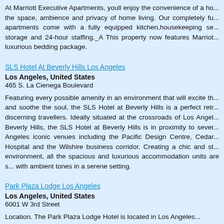At Marriott Executive Apartments, youll enjoy the convenience of a ho... the space, ambience and privacy of home living. Our completely fu... apartments come with a fully equipped kitchen,housekeeping se... storage and 24-hour staffing._A This property now features Marriot... luxurious bedding package.
SLS Hotel At Beverly Hills Los Angeles
Los Angeles, United States
465 S. La Cienega Boulevard
Featuring every possible amenity in an environment that will excite th... and soothe the soul, the SLS Hotel at Beverly Hills is a perfect retr... discerning travellers. Ideally situated at the crossroads of Los Angel... Beverly Hills, the SLS Hotel at Beverly Hills is in proximity to sever... Angeles iconic venues including the Pacific Design Centre, Cedar... Hospital and the Wilshire business corridor. Creating a chic and st... environment, all the spacious and luxurious accommodation units are s... with ambient tones in a serene setting.
Park Plaza Lodge Los Angeles
Los Angeles, United States
6001 W 3rd Street
Location. The Park Plaza Lodge Hotel is located in Los Angeles...